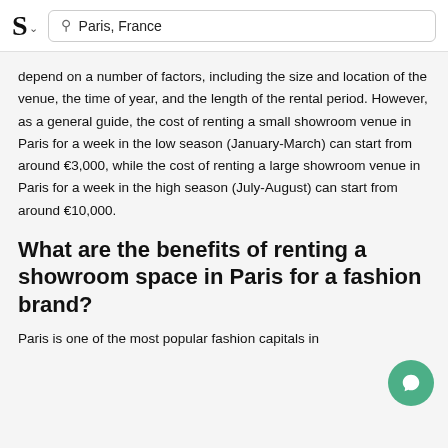S — Paris, France
depend on a number of factors, including the size and location of the venue, the time of year, and the length of the rental period. However, as a general guide, the cost of renting a small showroom venue in Paris for a week in the low season (January-March) can start from around €3,000, while the cost of renting a large showroom venue in Paris for a week in the high season (July-August) can start from around €10,000.
What are the benefits of renting a showroom space in Paris for a fashion brand?
Paris is one of the most popular fashion capitals in